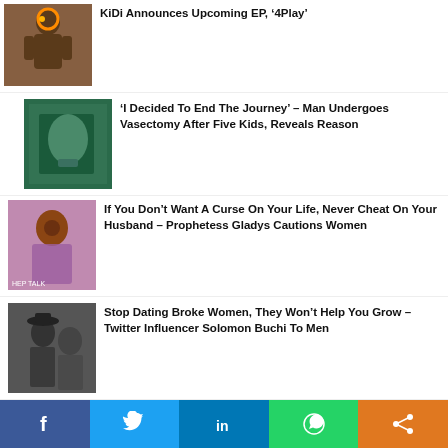KiDi Announces Upcoming EP, ‘4Play’
‘I Decided To End The Journey’ – Man Undergoes Vasectomy After Five Kids, Reveals Reason
If You Don’t Want A Curse On Your Life, Never Cheat On Your Husband – Prophetess Gladys Cautions Women
Stop Dating Broke Women, They Won’t Help You Grow – Twitter Influencer Solomon Buchi To Men
Watch As Groom Is Allowed To Change His